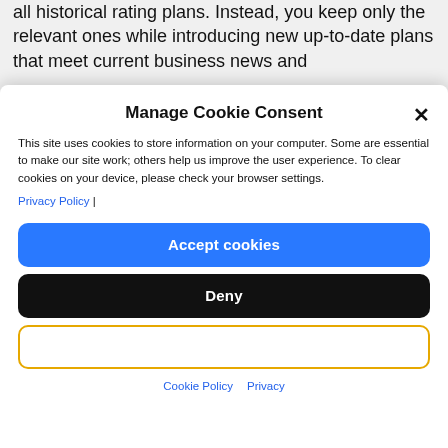all historical rating plans. Instead, you keep only the relevant ones while introducing new up-to-date plans that meet current business news and
Manage Cookie Consent
This site uses cookies to store information on your computer. Some are essential to make our site work; others help us improve the user experience. To clear cookies on your device, please check your browser settings.
Privacy Policy |
Accept cookies
Deny
Cookie Policy  Privacy